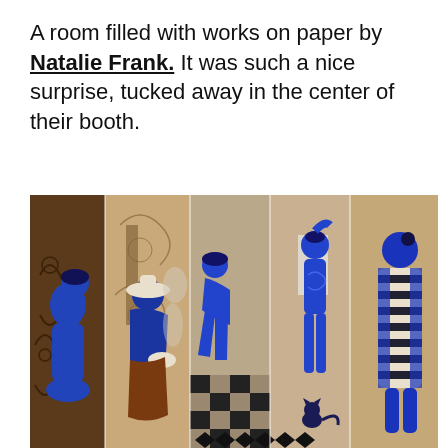A room filled with works on paper by Natalie Frank. It was such a nice surprise, tucked away in the center of their booth.
[Figure (illustration): A large artwork by Natalie Frank showing multiple blue-painted figures (women) in a richly decorated interior with ornate patterns, a checkerboard floor, and warm brown/tan tones. The scene is divided into vertical panels showing figures in various poses — sitting, standing, bending — with a cat visible in the lower center.]